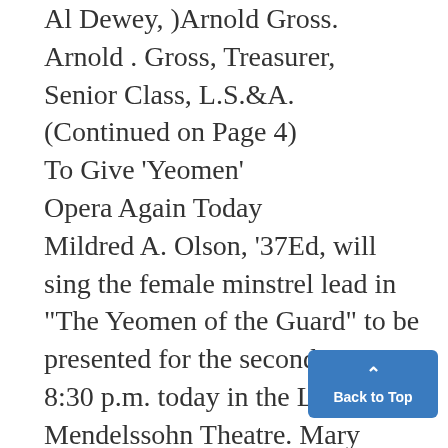Al Dewey, )Arnold Gross.
Arnold . Gross, Treasurer,
Senior Class, L.S.&A.
(Continued on Page 4)
To Give 'Yeomen'
Opera Again Today
Mildred A. Olson, '37Ed, will sing the female minstrel lead in "The Yeomen of the Guard" to be presented for the second time at 8:30 p.m. today in the Lydia Mendelssohn Theatre. Mary Kohlhaas, '37SM, who sang that part in last night's opening, will continue to sing the